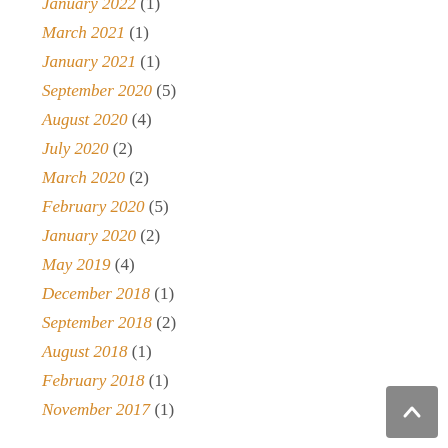January 2022 (1)
March 2021 (1)
January 2021 (1)
September 2020 (5)
August 2020 (4)
July 2020 (2)
March 2020 (2)
February 2020 (5)
January 2020 (2)
May 2019 (4)
December 2018 (1)
September 2018 (2)
August 2018 (1)
February 2018 (1)
November 2017 (1)